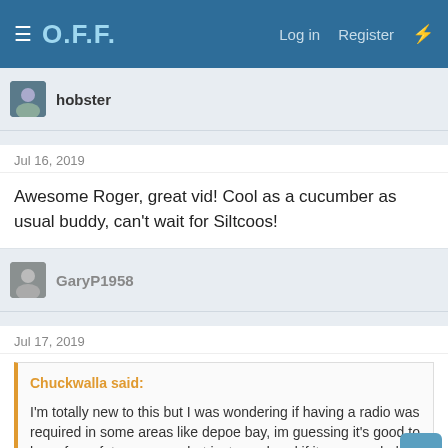O.F.F. — Log in   Register
hobster
Jul 16, 2019
Awesome Roger, great vid! Cool as a cucumber as usual buddy, can't wait for Siltcoos!
GaryP1958
Jul 17, 2019
Chuckwalla said:
I'm totally new to this but I was wondering if having a radio was required in some areas like depoe bay, im guessing it's good to have for safety purposes but just wondered if it was needed for contact with the marina. Sorry if this is obvious just figuring it out. Thanks.
Ch 80 to CG leaving and coming back in at Depoe!